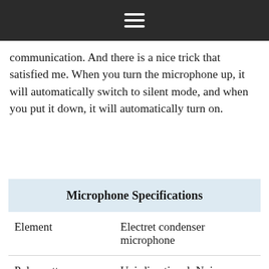☰
communication. And there is a nice trick that satisfied me. When you turn the microphone up, it will automatically switch to silent mode, and when you put it down, it will automatically turn on.
| Microphone Specifications |  |
| --- | --- |
| Element | Electret condenser microphone |
| Polar pattern | Uni-directional, Noise-canceling |
| Frequency | 50Hz-18,000Hz |